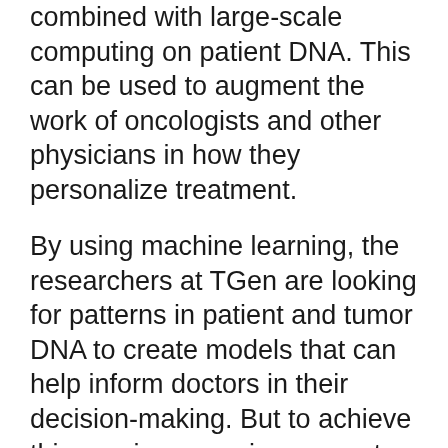combined with large-scale computing on patient DNA. This can be used to augment the work of oncologists and other physicians in how they personalize treatment.
By using machine learning, the researchers at TGen are looking for patterns in patient and tumor DNA to create models that can help inform doctors in their decision-making. But to achieve this requires massive amounts of data and the ability to store, analyze, and detect anomalies.
However, in the future, as HPC from Intel and Dell Technologies improves these processes, it will become routine for anyone diagnosed with cancer or other serious diseases to have their genome sequenced. The research, treatment, and technology advancing these